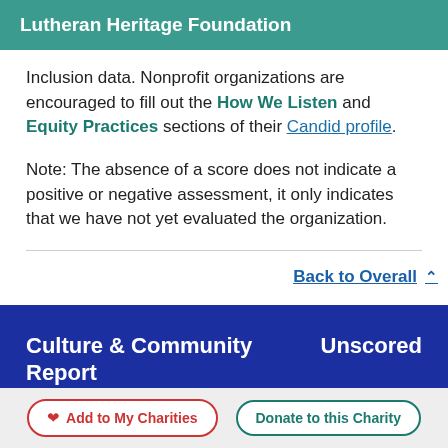Lutheran Heritage Foundation
Inclusion data. Nonprofit organizations are encouraged to fill out the How We Listen and Equity Practices sections of their Candid profile.
Note: The absence of a score does not indicate a positive or negative assessment, it only indicates that we have not yet evaluated the organization.
Back to Overall
Culture & Community Report
Unscored
Add to My Charities
Donate to this Charity